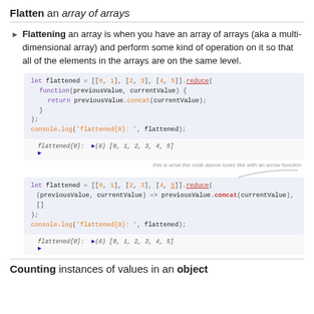Flatten an array of arrays
Flattening an array is when you have an array of arrays (aka a multi-dimensional array) and perform some kind of operation on it so that all of the elements in the arrays are on the same level.
[Figure (screenshot): Code block showing Array.reduce() flatten example with function syntax, followed by console output: flattened{0}: ▶(6) [0, 1, 2, 3, 4, 5]]
[Figure (screenshot): Code block showing Array.reduce() flatten example with arrow function syntax, with annotation 'this is what the code above looks like with an arrow function', followed by console output: flattened{0}: ▶(6) [0, 1, 2, 3, 4, 5]]
Counting instances of values in an object